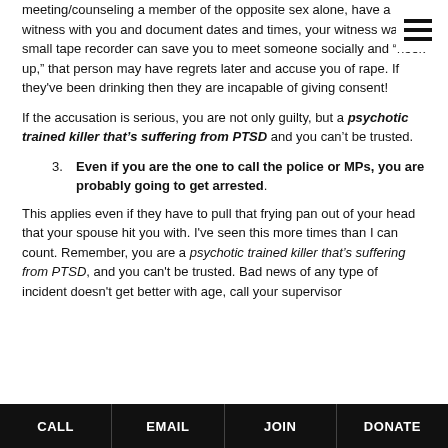meeting/counseling a member of the opposite sex alone, have a witness with you and document dates and times, your witness was. A small tape recorder can save you to meet someone socially and “hook up,” that person may have regrets later and accuse you of rape. If they’ve been drinking then they are incapable of giving consent!
If the accusation is serious, you are not only guilty, but a psychotic trained killer that’s suffering from PTSD and you can’t be trusted.
3.  Even if you are the one to call the police or MPs, you are probably going to get arrested.
This applies even if they have to pull that frying pan out of your head that your spouse hit you with. I’ve seen this more times than I can count. Remember, you are a psychotic trained killer that’s suffering from PTSD, and you can’t be trusted. Bad news of any type of incident doesn’t get better with age, call your supervisor
CALL  EMAIL  JOIN  DONATE